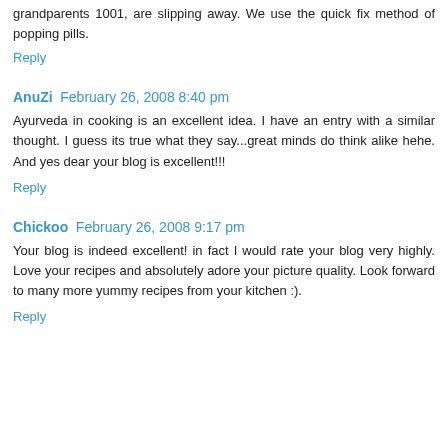grandparents 1001, are slipping away. We use the quick fix method of popping pills.
Reply
AnuZi  February 26, 2008 8:40 pm
Ayurveda in cooking is an excellent idea. I have an entry with a similar thought. I guess its true what they say...great minds do think alike hehe. And yes dear your blog is excellent!!!
Reply
Chickoo  February 26, 2008 9:17 pm
Your blog is indeed excellent! in fact I would rate your blog very highly. Love your recipes and absolutely adore your picture quality. Look forward to many more yummy recipes from your kitchen :).
Reply